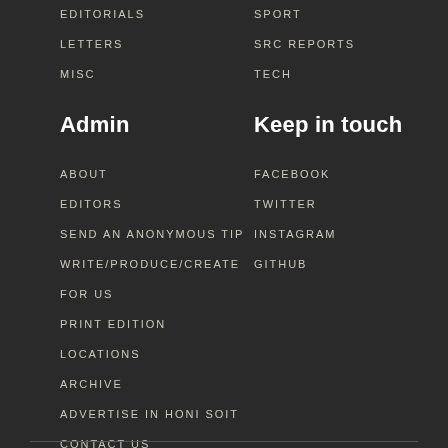EDITORIALS
SPORT
LETTERS
SRC REPORTS
MISC
TECH
Admin
Keep in touch
ABOUT
FACEBOOK
EDITORS
TWITTER
SEND AN ANONYMOUS TIP
INSTAGRAM
WRITE/PRODUCE/CREATE
GITHUB
FOR US
PRINT EDITION
LOCATIONS
ARCHIVE
ADVERTISE IN HONI SOIT
CONTACT US